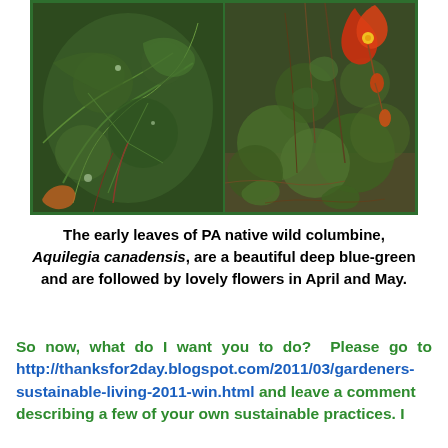[Figure (photo): Two side-by-side photos of PA native wild columbine (Aquilegia canadensis). Left photo shows close-up of deep blue-green lobed leaves. Right photo shows the plant with red and yellow flowers visible among green leaves.]
The early leaves of PA native wild columbine, Aquilegia canadensis, are a beautiful deep blue-green and are followed by lovely flowers in April and May.
So now, what do I want you to do?  Please go to http://thanksfor2day.blogspot.com/2011/03/gardeners-sustainable-living-2011-win.html and leave a comment describing a few of your own sustainable practices. I